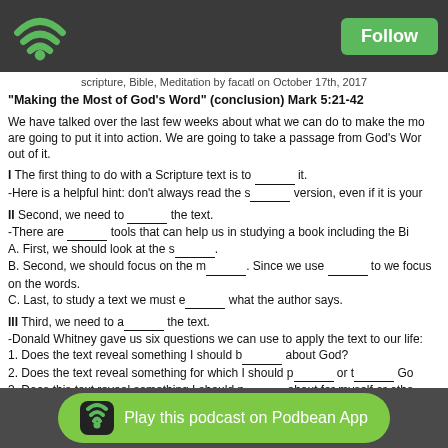scripture, Bible, Meditation by facatl on October 17th, 2017
“Making the Most of God’s Word” (conclusion) Mark 5:21-42
We have talked over the last few weeks about what we can do to make the mo are going to put it into action. We are going to take a passage from God’s Wor out of it.

I The first thing to do with a Scripture text is to ________ it.
-Here is a helpful hint: don’t always read the s______ version, even if it is your

II Second, we need to ________ the text.
-There are ________ tools that can help us in studying a book including the Bi A. First, we should look at the s____________.
B. Second, we should focus on the m______________. Since we use ______ to we focus on the words.
C. Last, to study a text we must e____________ what the author says.

III Third, we need to a__________ the text.
-Donald Whitney gave us six questions we can use to apply the text to our life:
1. Does the text reveal something I should b_______ about God?
2. Does the text reveal something for which I should p______ or t______ Go
3. Does this text reveal something I should p_______ about for myself or othe
4. Does this text reveal something I should have a new a__________ about?
5. Does this text reveal something that I should make a d___________ about?
6. Does the text reveal something I should d__ for the sake of Christ, others, o

IV Last, we need to m________________ on the text.
Play this podcast on Podbean App